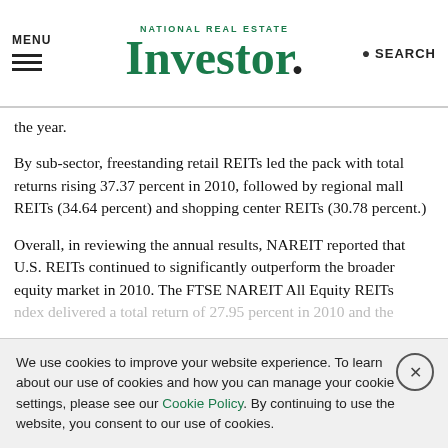MENU | National Real Estate Investor | SEARCH
the year.
By sub-sector, freestanding retail REITs led the pack with total returns rising 37.37 percent in 2010, followed by regional mall REITs (34.64 percent) and shopping center REITs (30.78 percent.)
Overall, in reviewing the annual results, NAREIT reported that U.S. REITs continued to significantly outperform the broader equity market in 2010. The FTSE NAREIT All Equity REITs index delivered a total return of 27.95 percent in 2010 and the
We use cookies to improve your website experience. To learn about our use of cookies and how you can manage your cookie settings, please see our Cookie Policy. By continuing to use the website, you consent to our use of cookies.